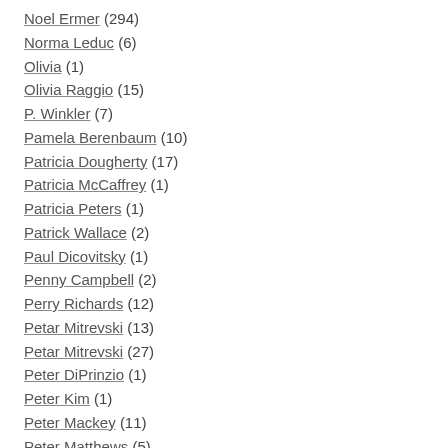Noel Ermer (294)
Norma Leduc (6)
Olivia (1)
Olivia Raggio (15)
P. Winkler (7)
Pamela Berenbaum (10)
Patricia Dougherty (17)
Patricia McCaffrey (1)
Patricia Peters (1)
Patrick Wallace (2)
Paul Dicovitsky (1)
Penny Campbell (2)
Perry Richards (12)
Petar Mitrevski (13)
Petar Mitrevski (27)
Peter DiPrinzio (1)
Peter Kim (1)
Peter Mackey (11)
Peter Matthews (5)